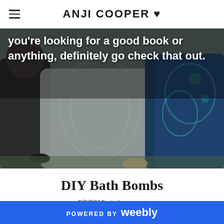ANJI COOPER ♥
[Figure (photo): Photo of people in formal dresses with white text overlay reading: you're looking for a good book or anything, definitely go check that out.]
DIY Bath Bombs
2/8/2016  1 Comment
POWERED BY weebly